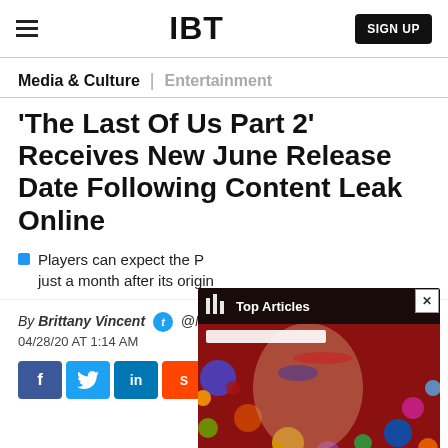IBT | SIGN UP
Media & Culture | Entertainment
'The Last Of Us Part 2' Receives New June Release Date Following Content Leak Online
Players can expect the P… just a month after its origin…
By Brittany Vincent @MolotovCupcake 04/28/20 AT 1:14 AM
[Figure (screenshot): Top Articles popup overlay with Bowie-like image background showing colorful circles on red background]
Social sharing buttons: Facebook, Twitter, LinkedIn, Reddit, Flipboard, Email, Comment